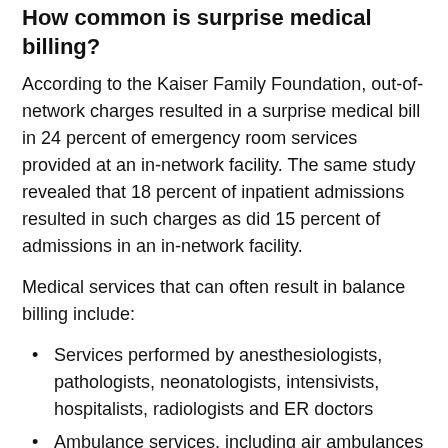How common is surprise medical billing?
According to the Kaiser Family Foundation, out-of-network charges resulted in a surprise medical bill in 24 percent of emergency room services provided at an in-network facility. The same study revealed that 18 percent of inpatient admissions resulted in such charges as did 15 percent of admissions in an in-network facility.
Medical services that can often result in balance billing include:
Services performed by anesthesiologists, pathologists, neonatologists, intensivists, hospitalists, radiologists and ER doctors
Ambulance services, including air ambulances
Post-procedure medical equipment (e.g., crutches and wheelchairs)
Services performed by a provider not chosen by the patient (lab test analysis)
As previously discussed, the majority of patients didn't know that the provider of their services weren't in-network. In fact,